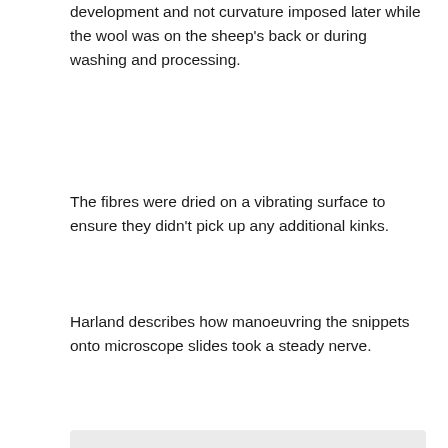development and not curvature imposed later while the wool was on the sheep's back or during washing and processing.
The fibres were dried on a vibrating surface to ensure they didn't pick up any additional kinks.
Harland describes how manoeuvring the snippets onto microscope slides took a steady nerve.
“Grabbing the snippets with fine forceps was not an option because they were easily damaged…so we used the electrostatic force on the tip of fine forceps to accurately position them.”